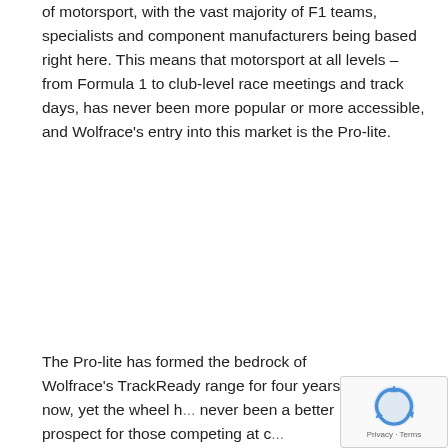of motorsport, with the vast majority of F1 teams, specialists and component manufacturers being based right here. This means that motorsport at all levels – from Formula 1 to club-level race meetings and track days, has never been more popular or more accessible, and Wolfrace's entry into this market is the Pro-lite.
The Pro-lite has formed the bedrock of Wolfrace's TrackReady range for four years now, yet the wheel h... never been a better prospect for those competing at c...